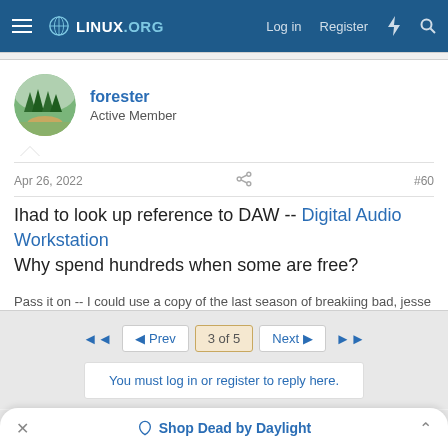LINUX.ORG — Log in  Register
[Figure (illustration): Avatar of user 'forester' showing forest scene with pine trees and a path]
forester
Active Member
Apr 26, 2022  #60
Ihad to look up reference to DAW -- Digital Audio Workstation Why spend hundreds when some are free?

Pass it on -- I could use a copy of the last season of breakiing bad, jesse LOL
◄◄  ◄ Prev  3 of 5  Next ►  ►► You must log in or register to reply here.
Share:
Shop Dead by Daylight